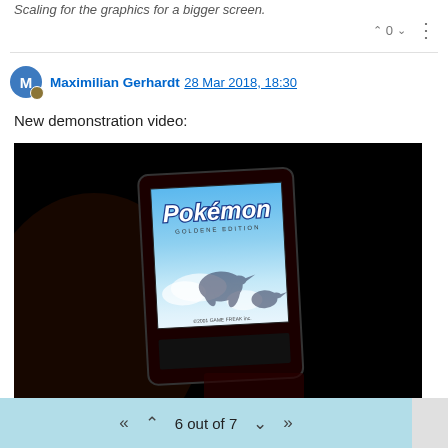Scaling for the graphics for a bigger screen.
^ 0 v ⋮
Maximilian Gerhardt 28 Mar 2018, 18:30
New demonstration video:
[Figure (photo): A handheld device (likely a smartphone) displaying the Pokémon Gold Edition title screen on its screen, held against a dark background. The screen shows the Pokémon logo and a bird Pokémon silhouette.]
6 out of 7